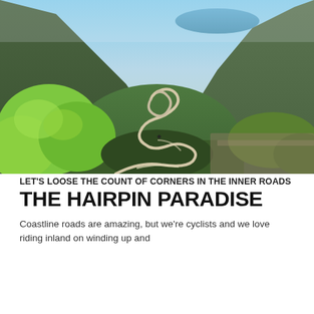[Figure (photo): Aerial view of winding hairpin mountain roads cutting through lush green vegetation on steep hillsides, with a glimpse of the sea visible in the background through a gap in the mountains.]
LET'S LOOSE THE COUNT OF CORNERS IN THE INNER ROADS THE HAIRPIN PARADISE
Coastline roads are amazing, but we're cyclists and we love riding inland on winding up and